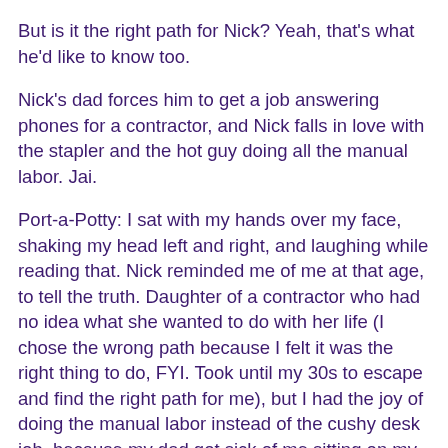But is it the right path for Nick? Yeah, that's what he'd like to know too.
Nick's dad forces him to get a job answering phones for a contractor, and Nick falls in love with the stapler and the hot guy doing all the manual labor. Jai.
Port-a-Potty: I sat with my hands over my face, shaking my head left and right, and laughing while reading that. Nick reminded me of me at that age, to tell the truth. Daughter of a contractor who had no idea what she wanted to do with her life (I chose the wrong path because I felt it was the right thing to do, FYI. Took until my 30s to escape and find the right path for me), but I had the joy of doing the manual labor instead of the cushy desk job, because my dad got sick of me sitting on my butt all summer long. Nick and I bonded in that moment, and I was taken for a train wreck of a journey for the rest of the novel.
Train wreck, our Nick. I seriously couldn't look away, finding it the most hilarious and precious thing ever. For realz.